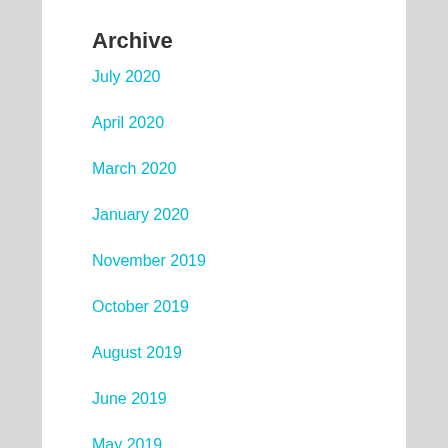Archive
July 2020
April 2020
March 2020
January 2020
November 2019
October 2019
August 2019
June 2019
May 2019